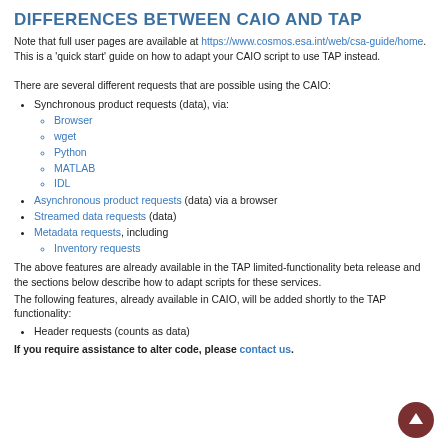DIFFERENCES BETWEEN CAIO AND TAP
Note that full user pages are available at https://www.cosmos.esa.int/web/csa-guide/home. This is a 'quick start' guide on how to adapt your CAIO script to use TAP instead.
There are several different requests that are possible using the CAIO:
Synchronous product requests (data), via:
Browser
wget
Python
MATLAB
IDL
Asynchronous product requests (data) via a browser
Streamed data requests (data)
Metadata requests, including
Inventory requests
The above features are already available in the TAP limited-functionality beta release and the sections below describe how to adapt scripts for these services.
The following features, already available in CAIO, will be added shortly to the TAP functionality:
Header requests (counts as data)
If you require assistance to alter code, please contact us.